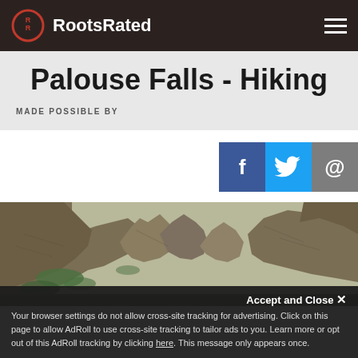RootsRated
Palouse Falls - Hiking
MADE POSSIBLE BY
[Figure (screenshot): Social share buttons: Facebook (blue), Twitter (light blue), Email/@ (grey)]
[Figure (photo): Rocky canyon landscape with rugged cliffs, green vegetation patches, and rocky formations at Palouse Falls]
Accept and Close ×
Your browser settings do not allow cross-site tracking for advertising. Click on this page to allow AdRoll to use cross-site tracking to tailor ads to you. Learn more or opt out of this AdRoll tracking by clicking here. This message only appears once.